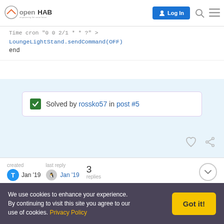openHAB — empowering the smart home | Log In
Time cron "0 0 2/1 * * ?" >
LoungeLightStand.sendCommand(OFF)
end
Solved by rossko57 in post #5
created Jan '19  last reply Jan '19  3 replies
TinkerMan  2  Jan '19
We use cookies to enhance your experience. By continuing to visit this site you agree to our use of cookies. Privacy Policy